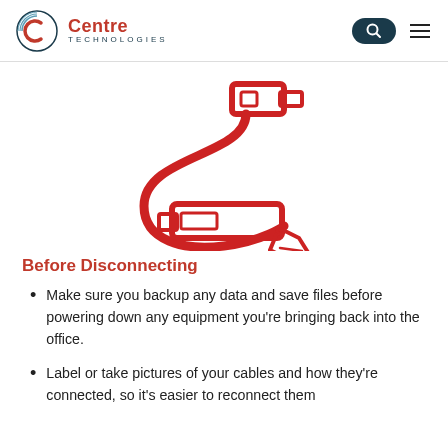Centre Technologies
[Figure (illustration): Red icon of two USB connectors connected by a curvy cable. The top connector is a USB-A plug and the bottom is a USB-B or similar plug with a price/label tag hanging from it.]
Before Disconnecting
Make sure you backup any data and save files before powering down any equipment you're bringing back into the office.
Label or take pictures of your cables and how they're connected, so it's easier to reconnect them